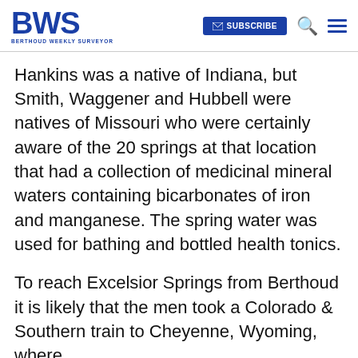BWS BERTHOUD WEEKLY SURVEYOR | SUBSCRIBE | Search | Menu
Hankins was a native of Indiana, but Smith, Waggener and Hubbell were natives of Missouri who were certainly aware of the 20 springs at that location that had a collection of medicinal mineral waters containing bicarbonates of iron and manganese. The spring water was used for bathing and bottled health tonics.
To reach Excelsior Springs from Berthoud it is likely that the men took a Colorado & Southern train to Cheyenne, Wyoming, where